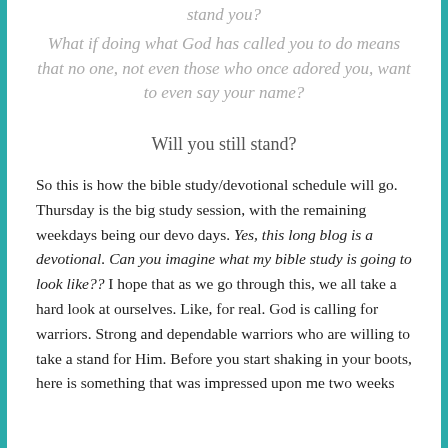stand you?
What if doing what God has called you to do means that no one, not even those who once adored you, want to even say your name?
Will you still stand?
So this is how the bible study/devotional schedule will go. Thursday is the big study session, with the remaining weekdays being our devo days. Yes, this long blog is a devotional. Can you imagine what my bible study is going to look like?? I hope that as we go through this, we all take a hard look at ourselves. Like, for real. God is calling for warriors. Strong and dependable warriors who are willing to take a stand for Him. Before you start shaking in your boots, here is something that was impressed upon me two weeks